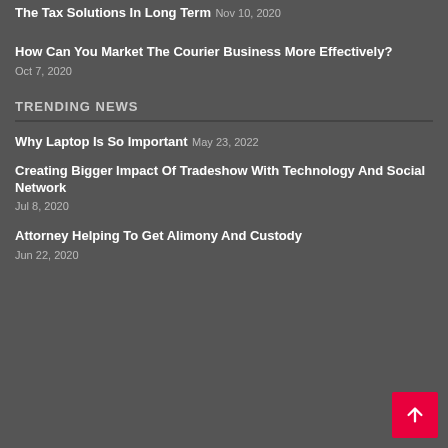The Tax Solutions In Long Term
Nov 10, 2020
How Can You Market The Courier Business More Effectively?
Oct 7, 2020
TRENDING NEWS
Why Laptop Is So Important
May 23, 2022
Creating Bigger Impact Of Tradeshow With Technology And Social Network
Jul 8, 2020
Attorney Helping To Get Alimony And Custody
Jun 22, 2020